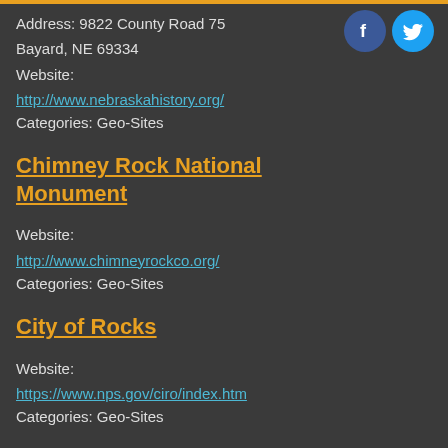Address: 9822 County Road 75
Bayard, NE 69334
Website:
http://www.nebraskahistory.org/
Categories: Geo-Sites
Chimney Rock National Monument
Website:
http://www.chimneyrockco.org/
Categories: Geo-Sites
City of Rocks
Website:
https://www.nps.gov/ciro/index.htm
Categories: Geo-Sites
Clifty Falls State Park